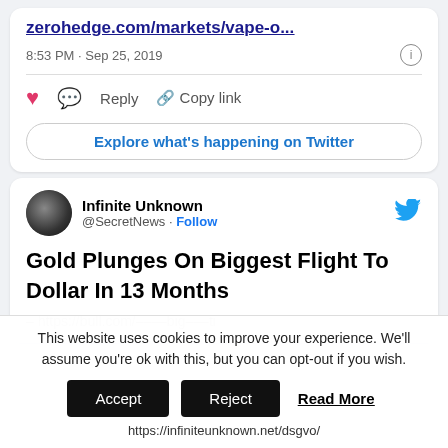zerohedge.com/markets/vape-o...
8:53 PM · Sep 25, 2019
Reply  Copy link
Explore what's happening on Twitter
Infinite Unknown @SecretNews · Follow
Gold Plunges On Biggest Flight To Dollar In 13 Months
This website uses cookies to improve your experience. We'll assume you're ok with this, but you can opt-out if you wish.
Accept  Reject  Read More
https://infiniteunknown.net/dsgvo/